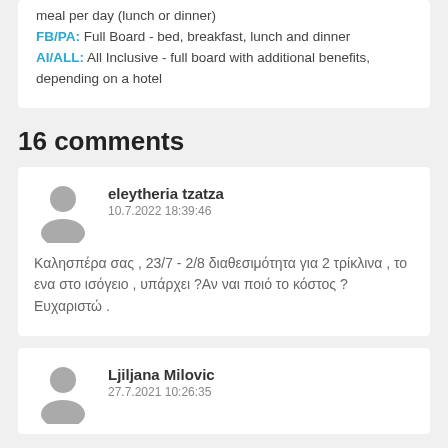meal per day (lunch or dinner) FB/PA: Full Board - bed, breakfast, lunch and dinner AI/ALL: All Inclusive - full board with additional benefits, depending on a hotel
16 comments
eleytheria tzatza
10.7.2022 18:39:46
Καλησπέρα σας , 23/7 - 2/8 διαθεσιμότητα για 2 τρίκλινα , το ενα στο ισόγειο , υπάρχει ?Αν ναι ποιό το κόστος ? Ευχαριστώ .
Ljiljana Milovic
27.7.2021 10:26:35